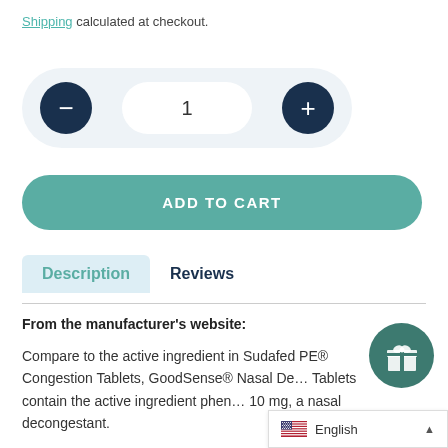Shipping calculated at checkout.
[Figure (screenshot): Quantity selector with minus button, quantity 1, and plus button in a rounded pill-shaped container]
[Figure (screenshot): Add to Cart teal rounded button]
Description  Reviews
From the manufacturer's website:
Compare to the active ingredient in Sudafed PE® Congestion Tablets, GoodSense® Nasal De... Tablets contain the active ingredient phen... 10 mg, a nasal decongestant.
[Figure (screenshot): Language selector bar showing US flag and 'English' text with an upward arrow]